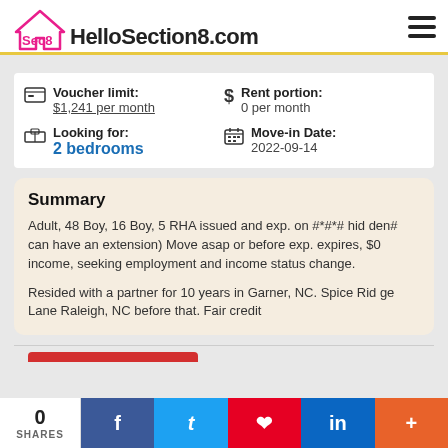HelloSection8.com
Voucher limit: $1,241 per month | Rent portion: 0 per month | Looking for: 2 bedrooms | Move-in Date: 2022-09-14
Summary
Adult, 48 Boy, 16 Boy, 5 RHA issued and exp. on #*#*# hidden# can have an extension) Move asap or before exp. expires, $0 income, seeking employment and income status change.

Resided with a partner for 10 years in Garner, NC. Spice Ridge Lane Raleigh, NC before that. Fair credit
0 SHARES | f | t | p | in | +